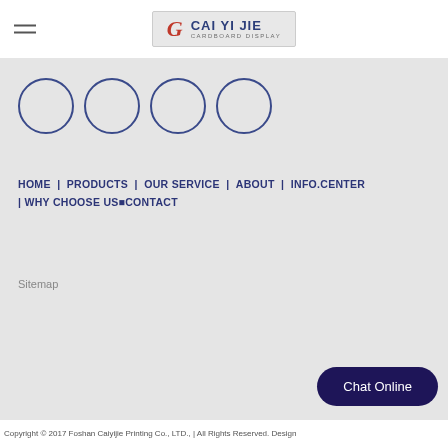[Figure (logo): Cai Yi Jie Cardboard Display logo with stylized G icon in red and blue text on gray background]
[Figure (other): Four empty circles arranged horizontally, outlined in navy blue]
HOME | PRODUCTS | OUR SERVICE | ABOUT | INFO.CENTER | WHY CHOOSE US CONTACT
Sitemap
Chat Online
Copyright © 2017 Foshan Caiyijie Printing Co., LTD., | All Rights Reserved. Design